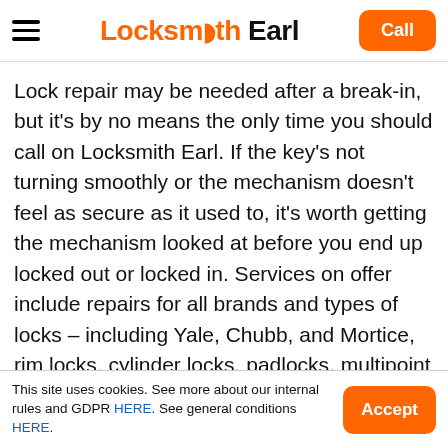Locksmith Earl — Call
Lock repair may be needed after a break-in, but it's by no means the only time you should call on Locksmith Earl. If the key's not turning smoothly or the mechanism doesn't feel as secure as it used to, it's worth getting the mechanism looked at before you end up locked out or locked in. Services on offer include repairs for all brands and types of locks – including Yale, Chubb, and Mortice, rim locks, cylinder locks, padlocks, multipoint locks and safe locks. Barrel replacement – A cheaper option than replacing a complete mechanism. Emergency and planned lock repairs – get a locksmith fast when the
This site uses cookies. See more about our internal rules and GDPR HERE. See general conditions HERE.